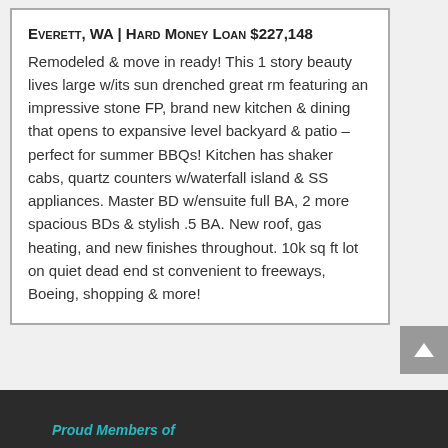Everett, WA | Hard Money Loan $227,148
Remodeled & move in ready! This 1 story beauty lives large w/its sun drenched great rm featuring an impressive stone FP, brand new kitchen & dining that opens to expansive level backyard & patio – perfect for summer BBQs! Kitchen has shaker cabs, quartz counters w/waterfall island & SS appliances. Master BD w/ensuite full BA, 2 more spacious BDs & stylish .5 BA. New roof, gas heating, and new finishes throughout. 10k sq ft lot on quiet dead end st convenient to freeways, Boeing, shopping & more!
Proud Members of